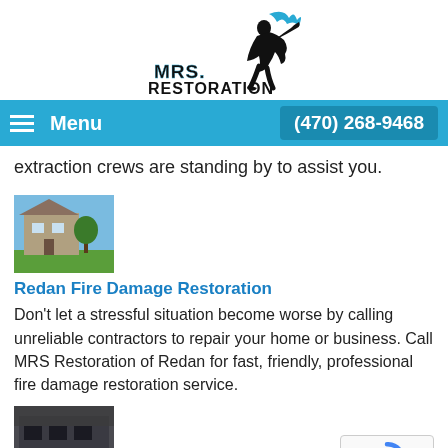[Figure (logo): MRS Restoration logo with a running figure holding water/fire and text MRS. RESTORATION]
Menu  (470) 268-9468
extraction crews are standing by to assist you.
[Figure (photo): Photo of a building exterior with green lawn, fire damage restoration context]
Redan Fire Damage Restoration
Don't let a stressful situation become worse by calling unreliable contractors to repair your home or business. Call MRS Restoration of Redan for fast, friendly, professional fire damage restoration service.
[Figure (photo): Photo of a building with smoke or fire damage, dark exterior]
Redan Smoke Damage Restoration